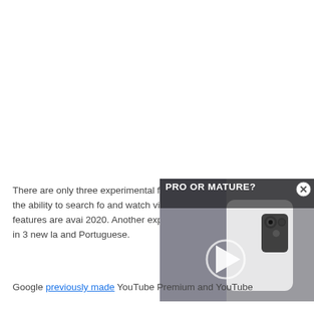There are only three experimental features live right now, including the ability to search for and watch videos on the home experimental features are avai 2020. Another experimental fe on your home screen in 3 new la and Portuguese.
[Figure (screenshot): Overlay video thumbnail showing a white smartphone on a textured surface with text 'PRO OR MATURE?' and a play button icon, plus a close (X) button in the top right corner.]
Google previously made YouTube Premium and YouTube